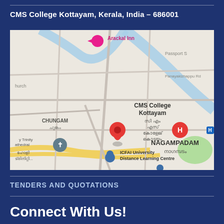CMS College Kottayam, Kerala, India – 686001
[Figure (map): Google Maps screenshot showing CMS College Kottayam location with a red pin marker, surrounded by Chungam, Nagampadam, ICFAI University Distance Learning Centre, Holy Trinity Cathedral, Arackal Inn, Passport office area, and river. Labels in English and Malayalam.]
TENDERS AND QUOTATIONS
Connect With Us!